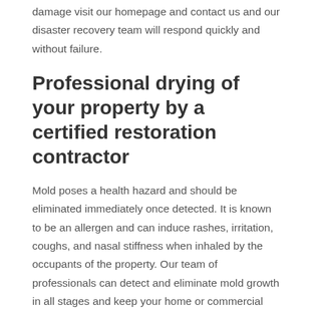damage visit our homepage and contact us and our disaster recovery team will respond quickly and without failure.
Professional drying of your property by a certified restoration contractor
Mold poses a health hazard and should be eliminated immediately once detected. It is known to be an allergen and can induce rashes, irritation, coughs, and nasal stiffness when inhaled by the occupants of the property. Our team of professionals can detect and eliminate mold growth in all stages and keep your home or commercial space conducive for humans.
Service professionals are a certified restoration contractor and we are well equipped with equipment used to dry up your property. Furthermore, our company has trustworthy, honest technicians; so you can trust us handling your property regardless of the value of such items. Moreover, our services are outstanding and cost-